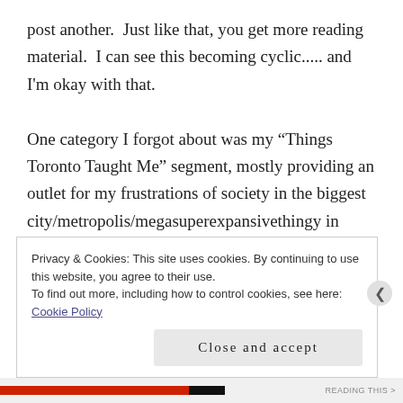post another.  Just like that, you get more reading material.  I can see this becoming cyclic..... and I'm okay with that.

One category I forgot about was my “Things Toronto Taught Me” segment, mostly providing an outlet for my frustrations of society in the biggest city/metropolis/megasuperexpansivethingy in Canada.  Yes, Spell Check, I realize that isn’t a word, but thanks for providing it some colour.  Gahh, I’m in Canada, Spell Check — colour is supposed to be spelled with a “u”!  I
Privacy & Cookies: This site uses cookies. By continuing to use this website, you agree to their use.
To find out more, including how to control cookies, see here: Cookie Policy
Close and accept